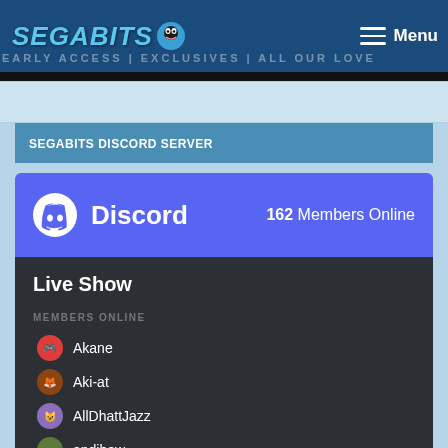SEGABITS | EARLY ACCESS | EXCLUSIVES | ALL OUR LOVE — Menu
SEGABITS DISCORD SERVER
[Figure (screenshot): Discord widget showing 162 Members Online for SEGABITS Discord Server, with a Live Show channel and members list including Akane, Aki-at, AllDhattJazz, andihow, ankimo (playing Arcade Paradise), ap0c, armadovil]
Live Show
MEMBERS ONLINE
Akane
Aki-at
AllDhattJazz
andihow
ankimo — Arcade Paradise
ap0c
armadovil